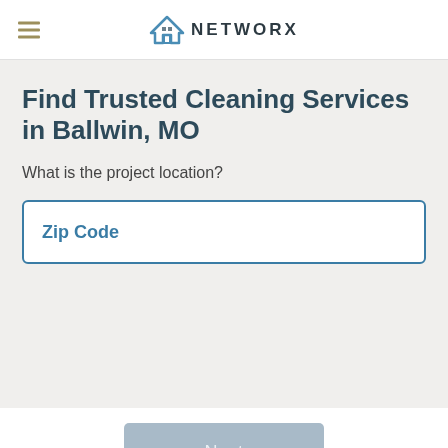NETWORX
Find Trusted Cleaning Services in Ballwin, MO
What is the project location?
Zip Code
Next